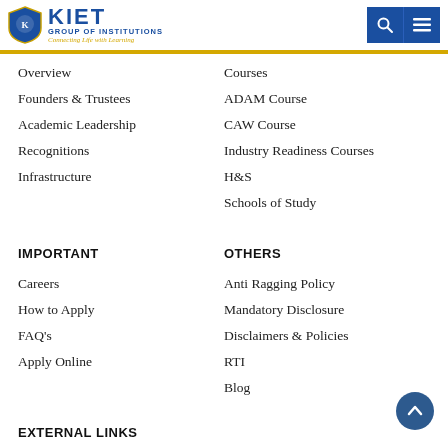[Figure (logo): KIET Group of Institutions logo with shield emblem and tagline 'Connecting Life with Learning']
Overview
Founders & Trustees
Academic Leadership
Recognitions
Infrastructure
Courses
ADAM Course
CAW Course
Industry Readiness Courses
H&S
Schools of Study
IMPORTANT
OTHERS
Careers
How to Apply
FAQ's
Apply Online
Anti Ragging Policy
Mandatory Disclosure
Disclaimers & Policies
RTI
Blog
EXTERNAL LINKS
KIET Email